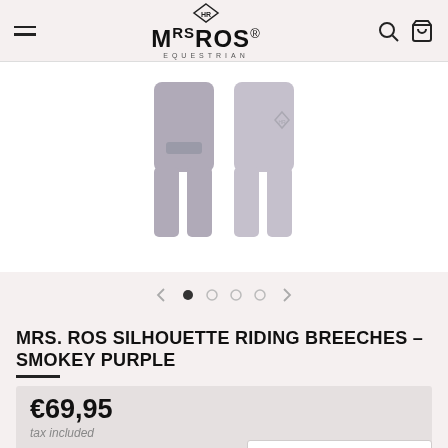MRS ROS EQUESTRIAN - Navigation bar with hamburger menu, logo, search and cart icons
[Figure (photo): Product photo showing two views of smokey purple riding breeches on a light background]
[Figure (other): Carousel navigation: left arrow, 4 dots (first filled/dark, rest light grey), right arrow]
MRS. ROS SILHOUETTE RIDING BREECHES – SMOKEY PURPLE
€69,95
tax included
English